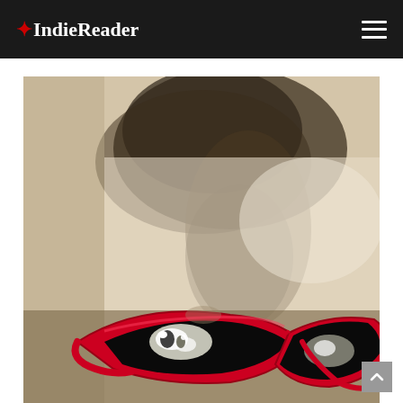IndieReader
[Figure (photo): Close-up photograph of a cat wearing a red cat-eye shaped glasses/mask. The image shows the cat's face with the distinctive red frame in the lower portion, reflecting the cat's eyes. The background shows a blurred shadow of the cat on a light wall. The overall color tone is muted/sepia with the red glasses as the focal point.]